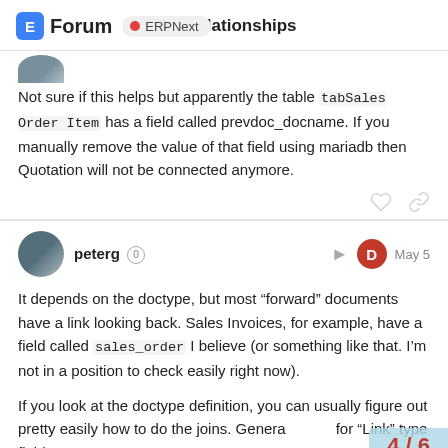SQL relationships
Not sure if this helps but apparently the table tabSales Order Item has a field called prevdoc_docname. If you manually remove the value of that field using mariadb then Quotation will not be connected anymore.
peterg  May 5
It depends on the doctype, but most “forward” documents have a link looking back. Sales Invoices, for example, have a field called sales_order I believe (or something like that. I’m not in a position to check easily right now).
If you look at the doctype definition, you can usually figure out pretty easily how to do the joins. Genera for “Link” type fields.
4 / 6